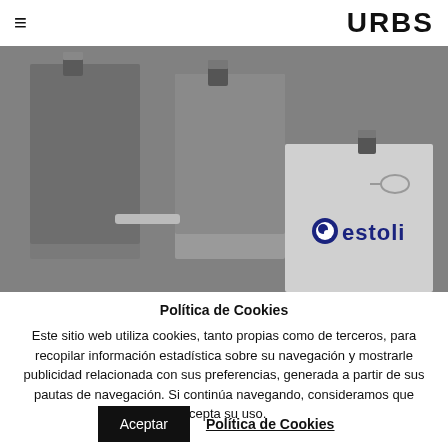≡  URBS
[Figure (photo): Product photo showing modular storage/locker units in grey with metal clips/clasps on top and an 'estoli' brand logo visible on the front of one unit]
Política de Cookies
Este sitio web utiliza cookies, tanto propias como de terceros, para recopilar información estadística sobre su navegación y mostrarle publicidad relacionada con sus preferencias, generada a partir de sus pautas de navegación. Si continúa navegando, consideramos que acepta su uso.
Aceptar  Política de Cookies